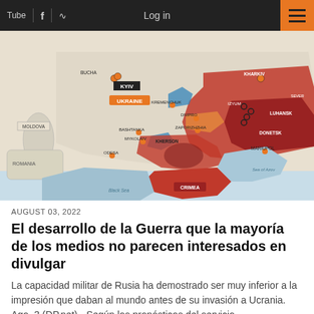Tube | f | RSS | Log in
[Figure (map): Map of Ukraine showing Russian-occupied territories (red), contested areas (blue/orange), and key cities labeled: Kyiv, Kharkiv, Bucha, Kremenchuk, Dnipro, Zaporizhzhia, Izyum, Luhansk, Donetsk, Mariupol, Kherson, Mykolaiv, Bashtanka, Odesa, Crimea, Moldova, Romania, Sea of Azov, Black Sea. Ukraine label shown in orange box.]
AUGUST 03, 2022
El desarrollo de la Guerra que la mayoría de los medios no parecen interesados en divulgar
La capacidad militar de Rusia ha demostrado ser muy inferior a la impresión que daban al mundo antes de su invasión a Ucrania. Ago. 3 (DP.net).- Según los pronósticos del servicio...